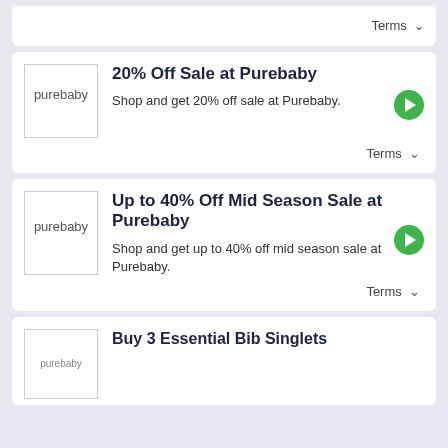Terms ∨
20% Off Sale at Purebaby
Shop and get 20% off sale at Purebaby.
Terms ∨
Up to 40% Off Mid Season Sale at Purebaby
Shop and get up to 40% off mid season sale at Purebaby.
Terms ∨
Buy 3 Essential Bib Singlets